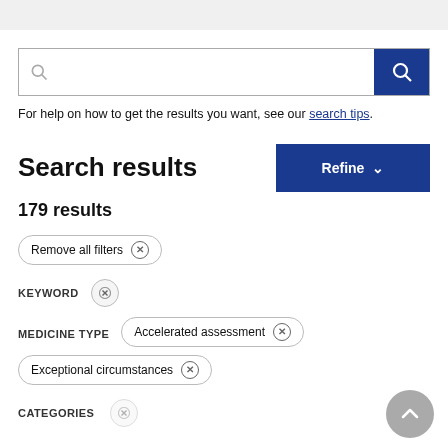[Figure (screenshot): Search bar with magnifying glass icon on left and blue search button on right]
For help on how to get the results you want, see our search tips.
Search results
179 results
Remove all filters ×
KEYWORD ×
MEDICINE TYPE  Accelerated assessment ×  Exceptional circumstances ×
CATEGORIES ...